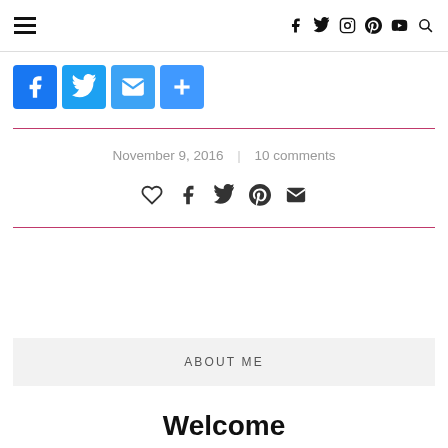≡  [nav icons: f, twitter, instagram, pinterest, youtube, search]
[Figure (infographic): Four blue social share buttons: Facebook (dark blue), Twitter (light blue), Email (blue), Plus/Share (blue)]
November 9, 2016  |  10 comments
[Figure (infographic): Small social share icons row: heart/like, facebook, twitter, pinterest, email]
ABOUT ME
Welcome